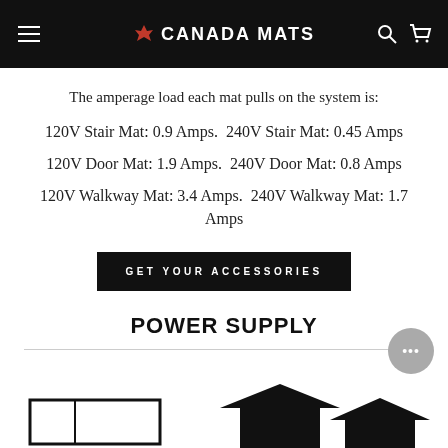Canada Mats
The amperage load each mat pulls on the system is:
120V Stair Mat: 0.9 Amps.  240V Stair Mat: 0.45 Amps
120V Door Mat: 1.9 Amps.  240V Door Mat: 0.8 Amps
120V Walkway Mat: 3.4 Amps.  240V Walkway Mat: 1.7 Amps
GET YOUR ACCESSORIES
POWER SUPPLY